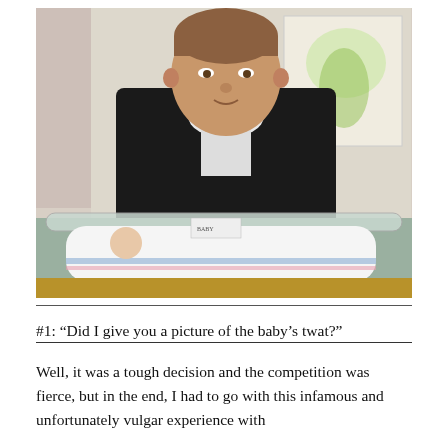[Figure (photo): A man in a dark jacket leaning over a hospital bassinet with a newborn baby wrapped in white blankets with pink and blue stripes. A framed flower painting is visible on the wall behind him.]
#1: “Did I give you a picture of the baby’s twat?”
Well, it was a tough decision and the competition was fierce, but in the end, I had to go with this infamous and unfortunately vulgar experience with